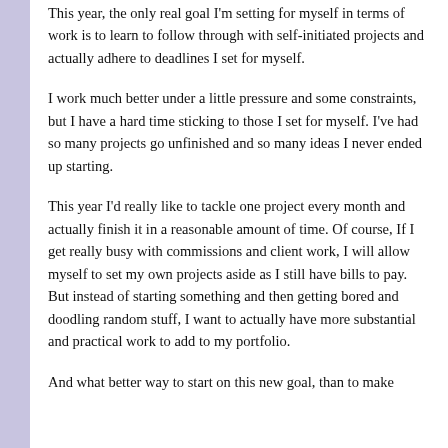This year, the only real goal I'm setting for myself in terms of work is to learn to follow through with self-initiated projects and actually adhere to deadlines I set for myself.
I work much better under a little pressure and some constraints, but I have a hard time sticking to those I set for myself. I've had so many projects go unfinished and so many ideas I never ended up starting.
This year I'd really like to tackle one project every month and actually finish it in a reasonable amount of time. Of course, If I get really busy with commissions and client work, I will allow myself to set my own projects aside as I still have bills to pay. But instead of starting something and then getting bored and doodling random stuff, I want to actually have more substantial and practical work to add to my portfolio.
And what better way to start on this new goal, than to make